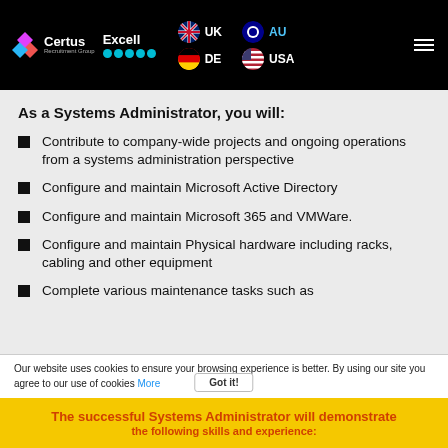[Figure (logo): Certus Recruitment Group logo with Excell branding and country flags (UK, DE, AU, USA) in black header bar]
As a Systems Administrator, you will:
Contribute to company-wide projects and ongoing operations from a systems administration perspective
Configure and maintain Microsoft Active Directory
Configure and maintain Microsoft 365 and VMWare.
Configure and maintain Physical hardware including racks, cabling and other equipment
Complete various maintenance tasks such as
Our website uses cookies to ensure your browsing experience is better. By using our site you agree to our use of cookies More
The successful Systems Administrator will demonstrate the following skills and experience: